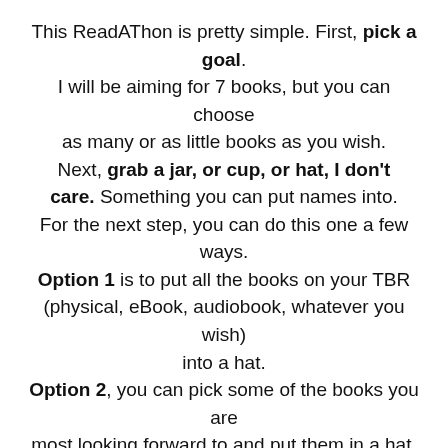This ReadAThon is pretty simple. First, pick a goal. I will be aiming for 7 books, but you can choose as many or as little books as you wish. Next, grab a jar, or cup, or hat, I don't care. Something you can put names into. For the next step, you can do this one a few ways. Option 1 is to put all the books on your TBR (physical, eBook, audiobook, whatever you wish) into a hat. Option 2, you can pick some of the books you are most looking forward to and put them in a hat. (Try and put at least double the amount that is your goal) Option 3, (this is what I will be doing), get a 2nd jar, in 1 jar put all the physical & eBooks books